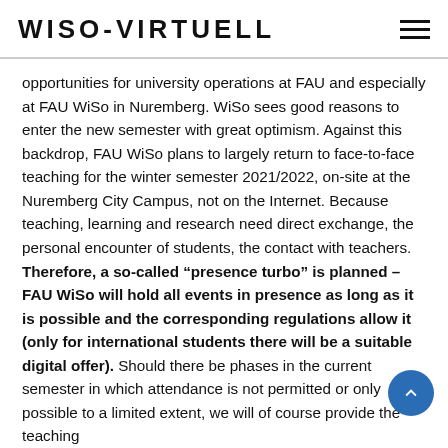WISO-VIRTUELL
opportunities for university operations at FAU and especially at FAU WiSo in Nuremberg. WiSo sees good reasons to enter the new semester with great optimism. Against this backdrop, FAU WiSo plans to largely return to face-to-face teaching for the winter semester 2021/2022, on-site at the Nuremberg City Campus, not on the Internet. Because teaching, learning and research need direct exchange, the personal encounter of students, the contact with teachers. Therefore, a so-called “presence turbo” is planned – FAU WiSo will hold all events in presence as long as it is possible and the corresponding regulations allow it (only for international students there will be a suitable digital offer). Should there be phases in the current semester in which attendance is not permitted or only possible to a limited extent, we will of course provide the teaching